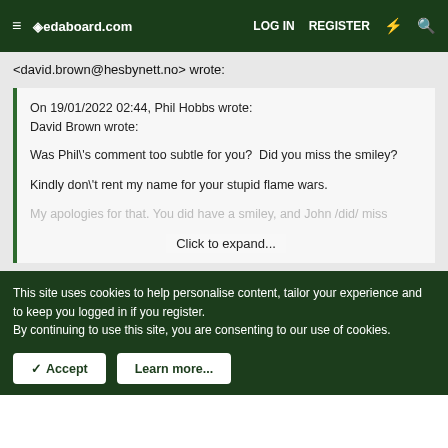edaboard.com — LOG IN   REGISTER
<david.brown@hesbynett.no> wrote:
On 19/01/2022 02:44, Phil Hobbs wrote:
David Brown wrote:

Was Phil\'s comment too subtle for you?  Did you miss the smiley?

Kindly don\'t rent my name for your stupid flame wars.

My apologies for that. You did have a smiley, and John /did/ miss
Click to expand...
This site uses cookies to help personalise content, tailor your experience and to keep you logged in if you register.
By continuing to use this site, you are consenting to our use of cookies.